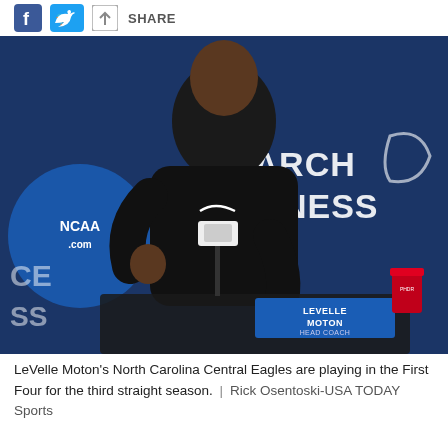SHARE
[Figure (photo): LeVelle Moton, head coach of North Carolina Central Eagles, speaking at a press conference podium with an NCAA March Madness backdrop. A nameplate reading 'LEVELLE MOTON HEAD COACH' is visible on the table.]
LeVelle Moton's North Carolina Central Eagles are playing in the First Four for the third straight season.  |  Rick Osentoski-USA TODAY Sports